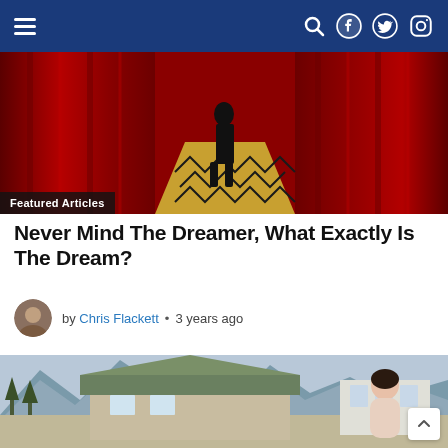Navigation bar with hamburger menu, search, Facebook, Twitter, Instagram icons
[Figure (photo): Red curtain scene (Twin Peaks Black Lodge) with chevron floor and figure silhouette, with 'Featured Articles' badge overlay]
Never Mind The Dreamer, What Exactly Is The Dream?
by Chris Flackett • 3 years ago
[Figure (photo): Outdoor scene with mountains, trees, a house/building with green roof, and a woman in a pink sweater sitting to the right]